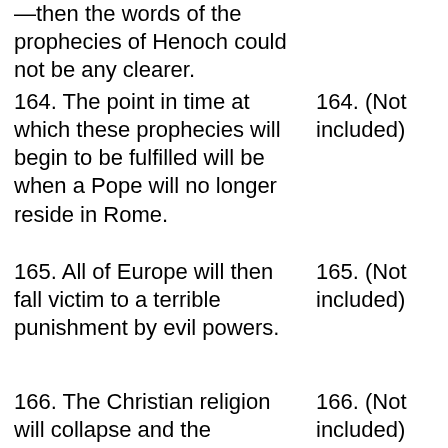—then the words of the prophecies of Henoch could not be any clearer.
164. The point in time at which these prophecies will begin to be fulfilled will be when a Pope will no longer reside in Rome.
164. (Not included)
165. All of Europe will then fall victim to a terrible punishment by evil powers.
165. (Not included)
166. The Christian religion will collapse and the churches and monasteries will end up in ruins and ashes.
166. (Not included)
167. Monstrous forces will be created by science and will be released by the
167. (Not included)